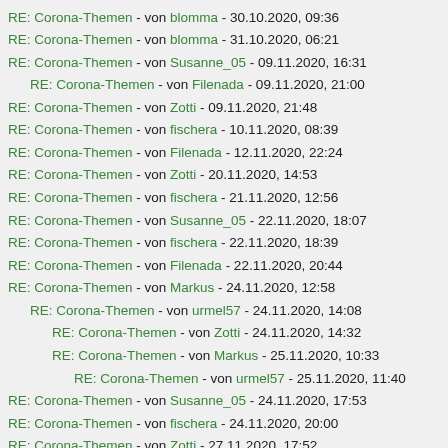RE: Corona-Themen - von blomma - 30.10.2020, 09:36
RE: Corona-Themen - von blomma - 31.10.2020, 06:21
RE: Corona-Themen - von Susanne_05 - 09.11.2020, 16:31
RE: Corona-Themen - von Filenada - 09.11.2020, 21:00
RE: Corona-Themen - von Zotti - 09.11.2020, 21:48
RE: Corona-Themen - von fischera - 10.11.2020, 08:39
RE: Corona-Themen - von Filenada - 12.11.2020, 22:24
RE: Corona-Themen - von Zotti - 20.11.2020, 14:53
RE: Corona-Themen - von fischera - 21.11.2020, 12:56
RE: Corona-Themen - von Susanne_05 - 22.11.2020, 18:07
RE: Corona-Themen - von fischera - 22.11.2020, 18:39
RE: Corona-Themen - von Filenada - 22.11.2020, 20:44
RE: Corona-Themen - von Markus - 24.11.2020, 12:58
RE: Corona-Themen - von urmel57 - 24.11.2020, 14:08
RE: Corona-Themen - von Zotti - 24.11.2020, 14:32
RE: Corona-Themen - von Markus - 25.11.2020, 10:33
RE: Corona-Themen - von urmel57 - 25.11.2020, 11:40
RE: Corona-Themen - von Susanne_05 - 24.11.2020, 17:53
RE: Corona-Themen - von fischera - 24.11.2020, 20:00
RE: Corona-Themen - von Zotti - 27.11.2020, 17:52
RE: Corona-Themen - von Markus - 27.11.2020, 18:33
RE: Corona-Themen - von Donald - 27.11.2020, 20:01
RE: Corona-Themen - von urmel57 - 27.11.2020, 19:02